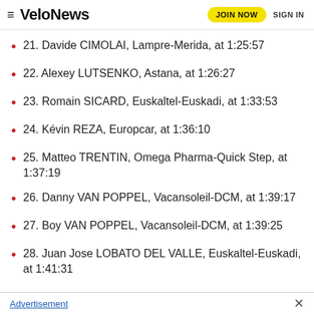VeloNews — JOIN NOW  SIGN IN
21. Davide CIMOLAI, Lampre-Merida, at 1:25:57
22. Alexey LUTSENKO, Astana, at 1:26:27
23. Romain SICARD, Euskaltel-Euskadi, at 1:33:53
24. Kévin REZA, Europcar, at 1:36:10
25. Matteo TRENTIN, Omega Pharma-Quick Step, at 1:37:19
26. Danny VAN POPPEL, Vacansoleil-DCM, at 1:39:17
27. Boy VAN POPPEL, Vacansoleil-DCM, at 1:39:25
28. Juan Jose LOBATO DEL VALLE, Euskaltel-Euskadi, at 1:41:31